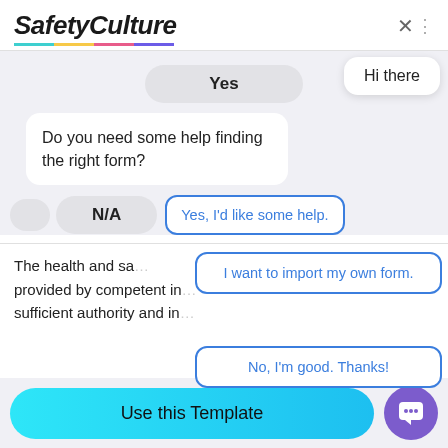[Figure (screenshot): SafetyCulture app header with logo and close button]
Yes
Hi there
Do you need some help finding the right form?
N/A
Yes, I'd like some help.
I want to import my own form.
The health and sa... provided by competent inc... sufficient authority and in...
No, I'm good. Thanks!
Use this Template